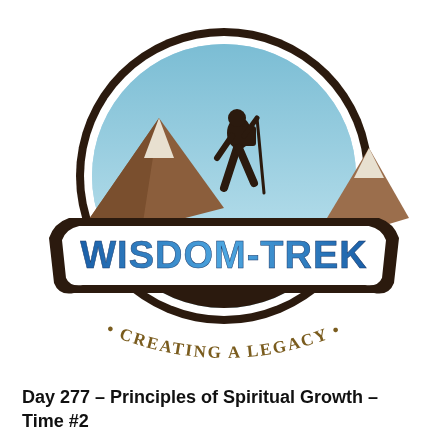[Figure (logo): Wisdom-Trek logo: circular emblem with a hiker silhouette carrying a backpack and trekking pole against a blue sky and brown mountain peaks, surrounded by a dark brown border. A banner across the middle reads 'WISDOM-TREK' in bold blue gradient letters. Below the circle, curved text reads '• CREATING A LEGACY •' in brown/gold serif letters.]
Day 277 – Principles of Spiritual Growth – Time #2